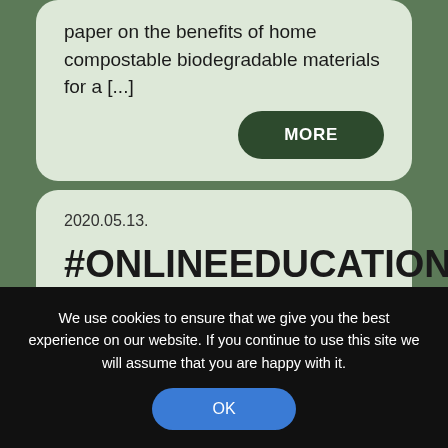paper on the benefits of home compostable biodegradable materials for a [...]
MORE
2020.05.13.
#ONLINEEDUCATION-2: BIO-
We use cookies to ensure that we give you the best experience on our website. If you continue to use this site we will assume that you are happy with it.
OK